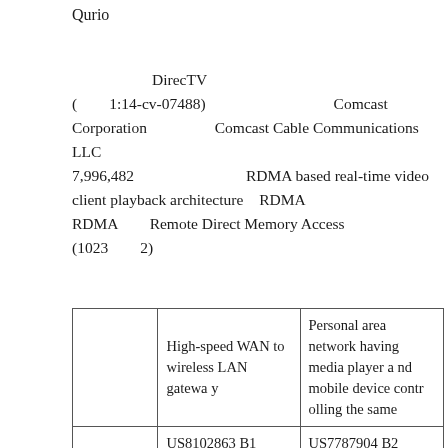Qurio
DirecTV　　　　　　　　　　　　　　　　　　(　　1:14-cv-07488)　　　　　　　Comcast Corporation 　　　Comcast Cable Communications LLC　　　　　　　　　　　　　　　　　　　　　　　7,996,482　　　　　　　RDMA based real-time video client playback architecture　RDMA　　　　　　　　　　　　　　　　RDMA　Remote Direct Memory Access　　　　　　　　　　　(1023　　2)
| 　　　　 | High-speed WAN to wireless LAN gateway | Personal area network having media player and mobile device controlling the same |
| --- | --- | --- |
| 　　　　 | High-speed WAN to wireless LAN gateway | Personal area network having media player and mobile device controlling the same |
| 　　　 | US8102863 B1 | US7787904 B2 |